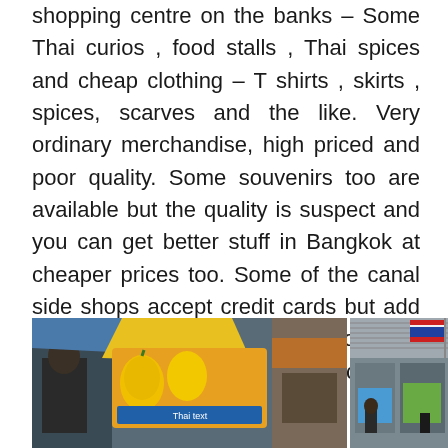shopping centre on the banks – Some Thai curios , food stalls , Thai spices and cheap clothing – T shirts , skirts , spices, scarves and the like. Very ordinary merchandise, high priced and poor quality. Some souvenirs too are available but the quality is suspect and you can get better stuff in Bangkok at cheaper prices too. Some of the canal side shops accept credit cards but add a  2 % service charge. Do  go along with the spirit of a tourist and pick up a few odds and ends.
[Figure (photo): Two photos side by side of a Thai market/bazaar: left photo shows market stalls with a colorful mango sign with Thai text, people browsing; right photo shows an indoor market/covered area with Thai flag visible.]